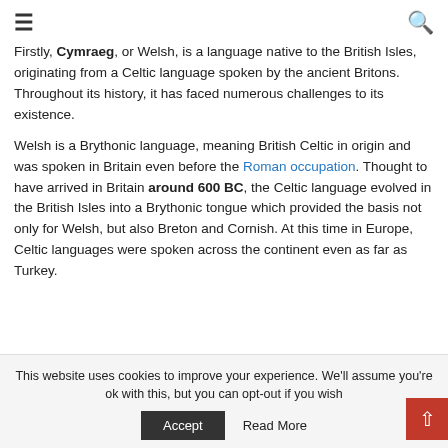≡  🔍
Firstly, Cymraeg, or Welsh, is a language native to the British Isles, originating from a Celtic language spoken by the ancient Britons. Throughout its history, it has faced numerous challenges to its existence.
Welsh is a Brythonic language, meaning British Celtic in origin and was spoken in Britain even before the Roman occupation. Thought to have arrived in Britain around 600 BC, the Celtic language evolved in the British Isles into a Brythonic tongue which provided the basis not only for Welsh, but also Breton and Cornish. At this time in Europe, Celtic languages were spoken across the continent even as far as Turkey.
This website uses cookies to improve your experience. We'll assume you're ok with this, but you can opt-out if you wish